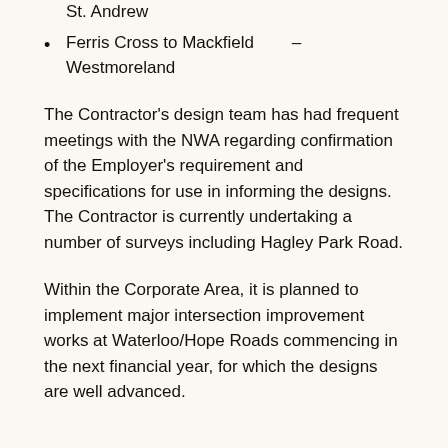St. Andrew
Ferris Cross to Mackfield – Westmoreland
The Contractor's design team has had frequent meetings with the NWA regarding confirmation of the Employer's requirement and specifications for use in informing the designs. The Contractor is currently undertaking a number of surveys including Hagley Park Road.
Within the Corporate Area, it is planned to implement major intersection improvement works at Waterloo/Hope Roads commencing in the next financial year, for which the designs are well advanced.